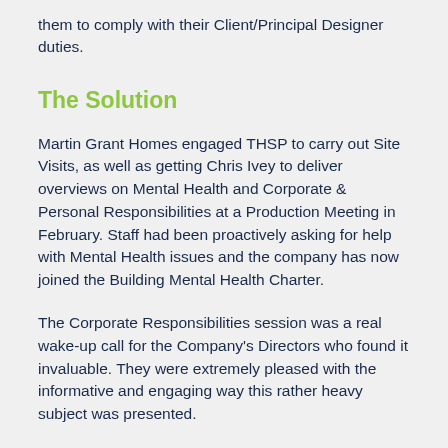them to comply with their Client/Principal Designer duties.
The Solution
Martin Grant Homes engaged THSP to carry out Site Visits, as well as getting Chris Ivey to deliver overviews on Mental Health and Corporate & Personal Responsibilities at a Production Meeting in February. Staff had been proactively asking for help with Mental Health issues and the company has now joined the Building Mental Health Charter.
The Corporate Responsibilities session was a real wake-up call for the Company's Directors who found it invaluable. They were extremely pleased with the informative and engaging way this rather heavy subject was presented.